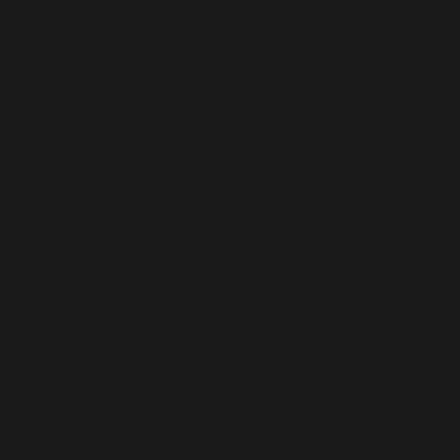[Figure (other): Blank dark/black page with no visible text or content. The entire page is filled with a very dark near-black background color (#1a1a1a).]